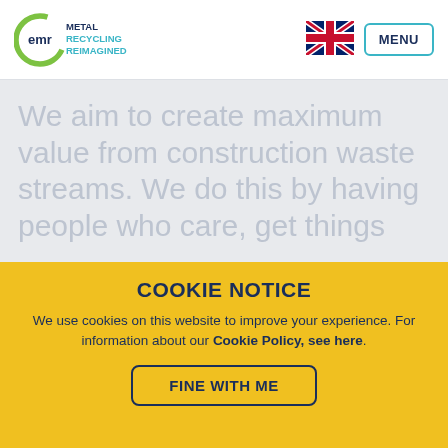[Figure (logo): EMR logo with green swoosh circle around 'emr' text, and 'METAL RECYCLING REIMAGINED' tagline in teal/blue]
[Figure (illustration): UK flag (Union Jack) icon]
MENU
We aim to create maximum value from construction waste streams. We do this by having people who care, get things
COOKIE NOTICE
We use cookies on this website to improve your experience. For information about our Cookie Policy, see here.
FINE WITH ME